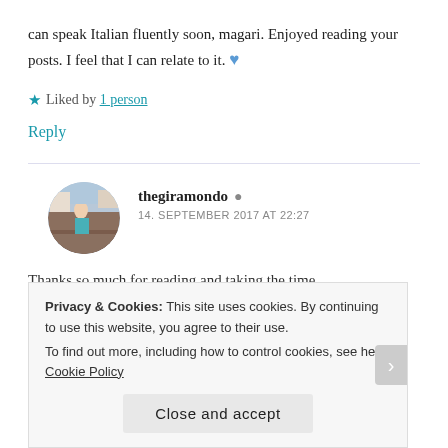can speak Italian fluently soon, magari. Enjoyed reading your posts. I feel that I can relate to it. 💙
★ Liked by 1 person
Reply
thegiramondo
14. SEPTEMBER 2017 AT 22:27
Thanks so much for reading and taking the time
Privacy & Cookies: This site uses cookies. By continuing to use this website, you agree to their use. To find out more, including how to control cookies, see here: Cookie Policy
Close and accept